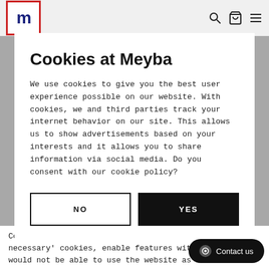[Figure (logo): Meyba logo — red-bordered box with dark blue M letterform]
Cookies at Meyba
We use cookies to give you the best user experience possible on our website. With cookies, we and third parties track your internet behavior on our site. This allows us to show advertisements based on your interests and it allows you to share information via social media. Do you consent with our cookie policy?
NO
YES
Cookies that are essential, also known as 'strictly necessary' cookies, enable features without which you would not be able to use the website as intended. They